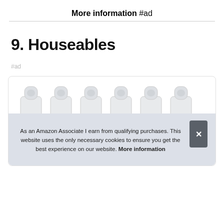More information #ad
9. Houseables
#ad
[Figure (photo): Six small clear plastic travel-size bottles with disc-top caps arranged in a row inside a product listing box, partially covered by a cookie consent banner.]
As an Amazon Associate I earn from qualifying purchases. This website uses the only necessary cookies to ensure you get the best experience on our website. More information